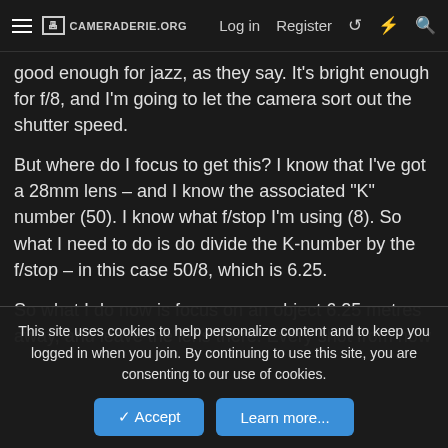CAMERADERIE.ORG | Log in | Register
good enough for jazz, as they say. It's bright enough for f/8, and I'm going to let the camera sort out the shutter speed.
But where do I focus to get this? I know that I've got a 28mm lens – and I know the associated “K” number (50). I know what f/stop I'm using (8). So what I need to do is do divide the K-number by the f/stop – in this case 50/8, which is 6.25.
So what I do now is focus on an object 6.25 metres away, and leave the lens there. Every shot from now
This site uses cookies to help personalize content and to keep you logged in when you join. By continuing to use this site, you are consenting to our use of cookies.